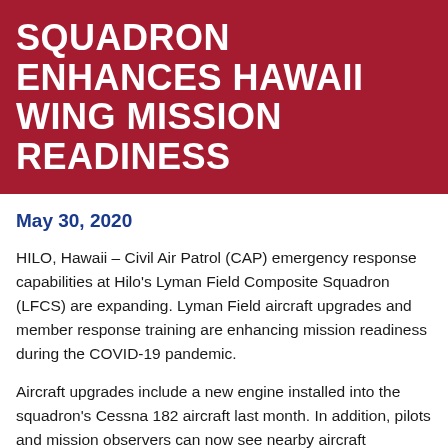SQUADRON ENHANCES HAWAII WING MISSION READINESS
May 30, 2020
HILO, Hawaii – Civil Air Patrol (CAP) emergency response capabilities at Hilo's Lyman Field Composite Squadron (LFCS) are expanding. Lyman Field aircraft upgrades and member response training are enhancing mission readiness during the COVID-19 pandemic.
Aircraft upgrades include a new engine installed into the squadron's Cessna 182 aircraft last month. In addition, pilots and mission observers can now see nearby aircraft movement and altitudes on new cockpit displays.
[Figure (photo): Partial view of aircraft or cockpit structure — vertical metal strips/slats visible, gray tones]